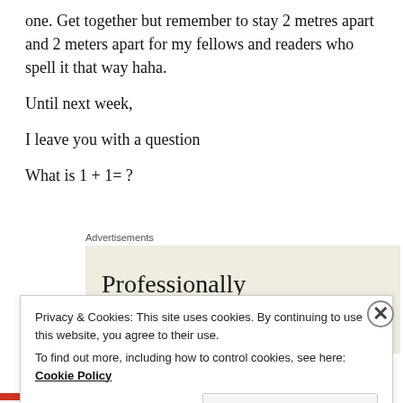one. Get together but remember to stay 2 metres apart and 2 meters apart for my fellows and readers who spell it that way haha.
Until next week,
I leave you with a question
What is 1 + 1= ?
[Figure (other): Advertisement banner with beige background showing text: 'Professionally designed sites in less']
Privacy & Cookies: This site uses cookies. By continuing to use this website, you agree to their use.
To find out more, including how to control cookies, see here: Cookie Policy
Close and accept